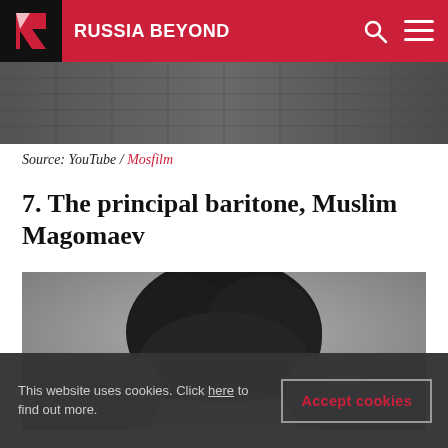RUSSIA BEYOND
[Figure (photo): Top cropped image strip from previous content, dark/grey tones]
Source: YouTube / Mosfilm
7. The principal baritone, Muslim Magomaev
[Figure (photo): Black and white close-up portrait photo of Muslim Magomaev, showing top of head and forehead with dark hair]
This website uses cookies. Click here to find out more.